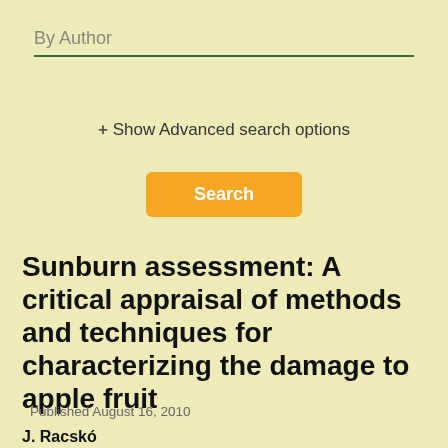By Author
+ Show Advanced search options
Search
Sunburn assessment: A critical appraisal of methods and techniques for characterizing the damage to apple fruit
Published August 16, 2010
J. Racskó